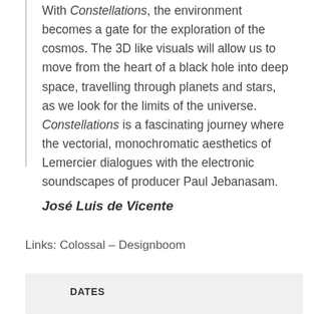With Constellations, the environment becomes a gate for the exploration of the cosmos. The 3D like visuals will allow us to move from the heart of a black hole into deep space, travelling through planets and stars, as we look for the limits of the universe. Constellations is a fascinating journey where the vectorial, monochromatic aesthetics of Lemercier dialogues with the electronic soundscapes of producer Paul Jebanasam.
José Luis de Vicente
Links: Colossal – Designboom
DATES